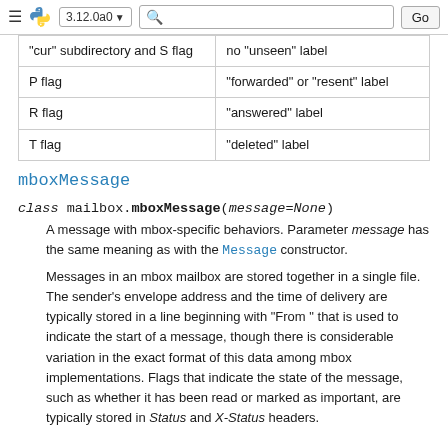3.12.0a0 Go
| "cur" subdirectory and S flag | no "unseen" label |
| P flag | "forwarded" or "resent" label |
| R flag | "answered" label |
| T flag | "deleted" label |
mboxMessage
class mailbox.mboxMessage(message=None)
A message with mbox-specific behaviors. Parameter message has the same meaning as with the Message constructor.
Messages in an mbox mailbox are stored together in a single file. The sender's envelope address and the time of delivery are typically stored in a line beginning with “From ” that is used to indicate the start of a message, though there is considerable variation in the exact format of this data among mbox implementations. Flags that indicate the state of the message, such as whether it has been read or marked as important, are typically stored in Status and X-Status headers.